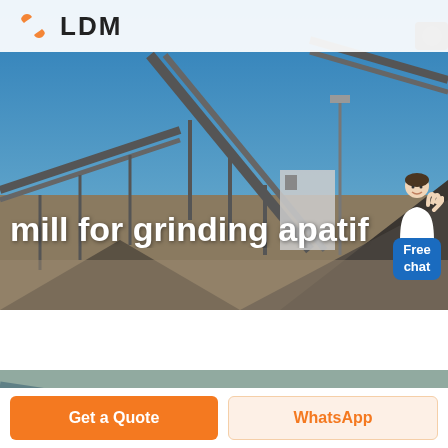[Figure (photo): Industrial mining conveyor belts and crushing equipment at an open-air mining facility against a blue sky. Large piles of crushed rock/aggregate visible in foreground.]
mill for grinding apatif
[Figure (photo): Close-up partial view of industrial conveyor belt equipment]
Get a Quote
WhatsApp